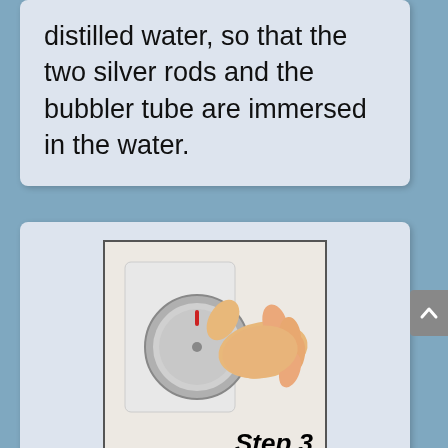distilled water, so that the two silver rods and the bubbler tube are immersed in the water.
[Figure (photo): A hand turning a round dial/timer on a white appliance. The image is bordered with a thin dark border. The text 'Step 3' appears in bold italic at the bottom right of the image.]
Set the handy appliance timer for three hours